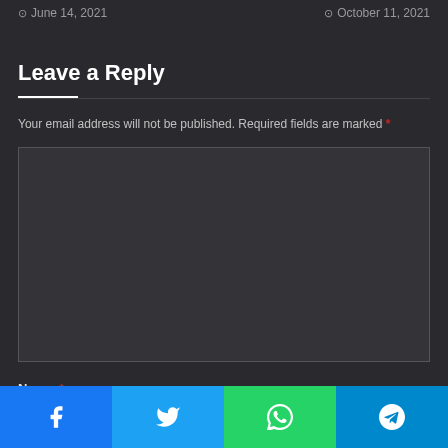June 14, 2021
October 11, 2021
Leave a Reply
Your email address will not be published. Required fields are marked *
[Figure (other): Comment text area input box (empty, dark background)]
Name *
[Figure (other): Name input field (empty, dark background)]
[Figure (other): Social share bar with Facebook, Twitter, WhatsApp, and Telegram icons]